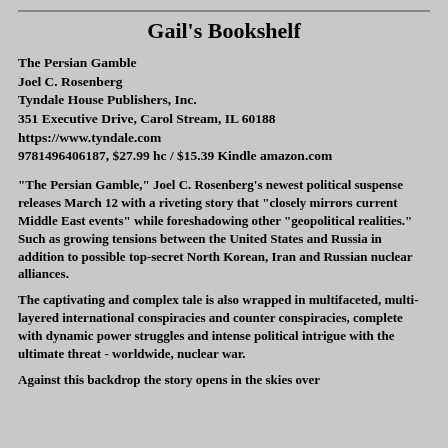Gail's Bookshelf
The Persian Gamble
Joel C. Rosenberg
Tyndale House Publishers, Inc.
351 Executive Drive, Carol Stream, IL 60188
https://www.tyndale.com
9781496406187, $27.99 hc / $15.39 Kindle amazon.com
"The Persian Gamble," Joel C. Rosenberg's newest political suspense releases March 12 with a riveting story that "closely mirrors current Middle East events" while foreshadowing other "geopolitical realities." Such as growing tensions between the United States and Russia in addition to possible top-secret North Korean, Iran and Russian nuclear alliances.
The captivating and complex tale is also wrapped in multifaceted, multi-layered international conspiracies and counter conspiracies, complete with dynamic power struggles and intense political intrigue with the ultimate threat - worldwide, nuclear war.
Against this backdrop the story opens in the skies over